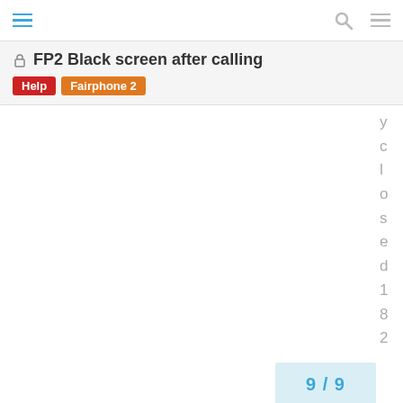FP2 Black screen after calling
FP2 Black screen after calling
Help
Fairphone 2
y c l o s e d 1 8 2 d a y s
9 / 9